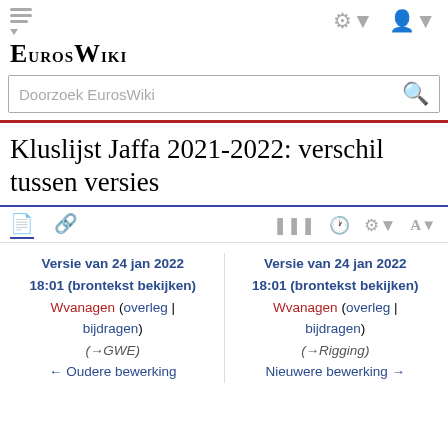EurosWiki
Kluslijst Jaffa 2021-2022: verschil tussen versies
Versie van 24 jan 2022 18:01 (brontekst bekijken) Wvanagen (overleg | bijdragen) (→GWE) ← Oudere bewerking
Versie van 24 jan 2022 18:01 (brontekst bekijken) Wvanagen (overleg | bijdragen) (→Rigging) Nieuwere bewerking →